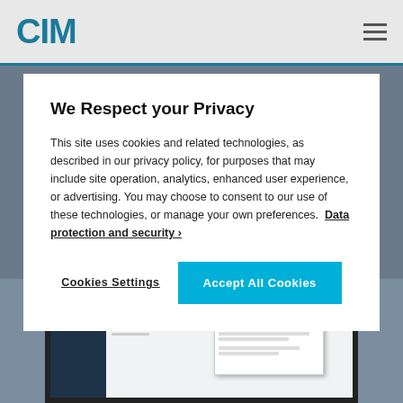[Figure (logo): CIM logo in teal/blue color in top left header]
We Respect your Privacy
This site uses cookies and related technologies, as described in our privacy policy, for purposes that may include site operation, analytics, enhanced user experience, or advertising. You may choose to consent to our use of these technologies, or manage your own preferences.  Data protection and security ›
Cookies Settings
Accept All Cookies
[Figure (screenshot): Laptop screen showing a software application with a sidebar, main content area, and an open dialog box/popup]